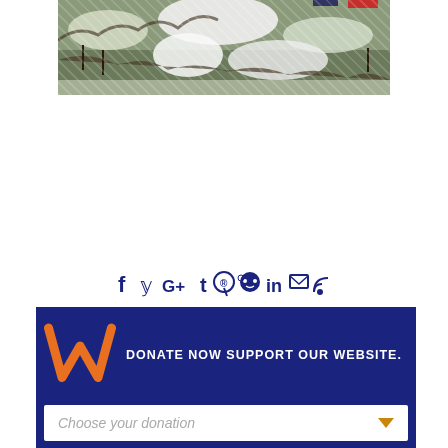[Figure (photo): Aerial or ground-level photograph showing a snowy, rocky landscape with trees and patches of snow]
[Figure (infographic): Social media sharing icons row: Facebook (f), Twitter (bird), Google+ (G+), Tumblr (t), Pinterest (pin), Reddit, LinkedIn (in), Email (envelope), RSS feed - all in dark navy blue]
[Figure (infographic): Donation banner with dark navy background, orange W logo on left, text 'DONATE NOW SUPPORT OUR WEBSITE.' in white, and a 'Choose your donation' dropdown selector below]